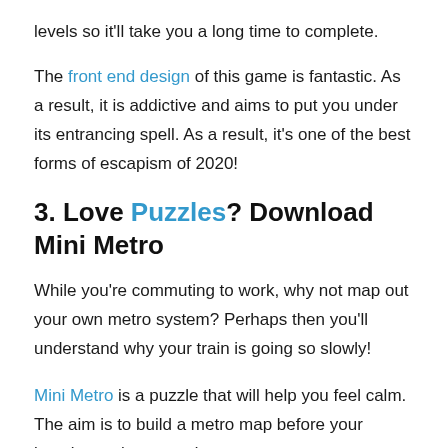levels so it'll take you a long time to complete.
The front end design of this game is fantastic. As a result, it is addictive and aims to put you under its entrancing spell. As a result, it's one of the best forms of escapism of 2020!
3. Love Puzzles? Download Mini Metro
While you're commuting to work, why not map out your own metro system? Perhaps then you'll understand why your train is going so slowly!
Mini Metro is a puzzle that will help you feel calm. The aim is to build a metro map before your imaginary city expands...